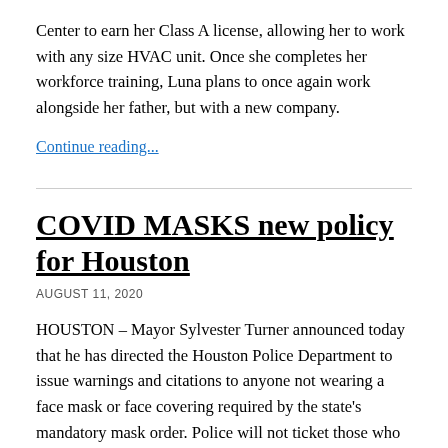Center to earn her Class A license, allowing her to work with any size HVAC unit. Once she completes her workforce training, Luna plans to once again work alongside her father, but with a new company.
Continue reading...
COVID MASKS new policy for Houston
AUGUST 11, 2020
HOUSTON – Mayor Sylvester Turner announced today that he has directed the Houston Police Department to issue warnings and citations to anyone not wearing a face mask or face covering required by the state's mandatory mask order. Police will not ticket those who are not wearing a mask if they meet the exemption criteria. The citation carries a $250 fine.